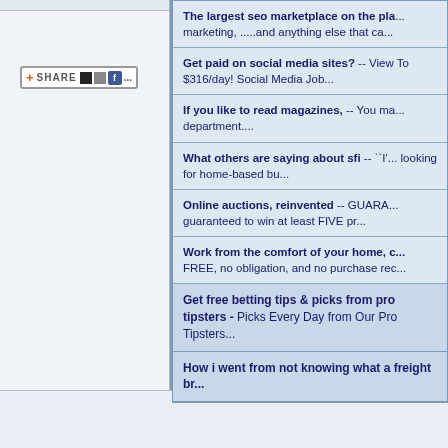[Figure (screenshot): Share button with icons including a red plus, SHARE text, small square icons, and a Facebook icon]
The largest seo marketplace on the pla... marketing, .....and anything else that ca...
Get paid on social media sites? -- View To $316/day! Social Media Job...
If you like to read magazines, -- You ma... department....
What others are saying about sfi -- ``I\'... looking for home-based bu...
Online auctions, reinvented -- GUARA... guaranteed to win at least FIVE pr...
Work from the comfort of your home, c... FREE, no obligation, and no purchase rec...
Get free betting tips & picks from pro tipsters - Picks Every Day from Our Pro Tipsters...
How i went from not knowing what a freight br...